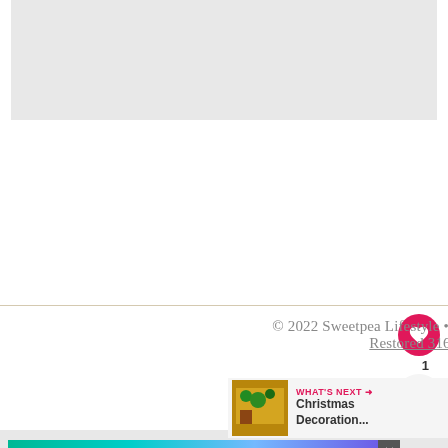[Figure (photo): Gray placeholder image area at top of page]
© 2022 Sweetpea Lifestyle • Sage Theme by Restored 316
Exclusive Member of Mediavine Food
[Figure (infographic): What's Next promotional box featuring Christmas Decoration... with thumbnail image]
[Figure (screenshot): Advertisement banner: We stand with you. with colorful gradient background and close button]